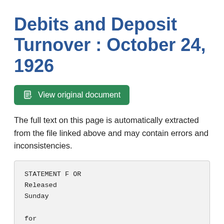Debits and Deposit Turnover : October 24, 1926
[Figure (other): Green button labeled 'View original document' with a document icon]
The full text on this page is automatically extracted from the file linked above and may contain errors and inconsistencies.
STATEMENT F OR
Released
Sunday

for

PRESS

...